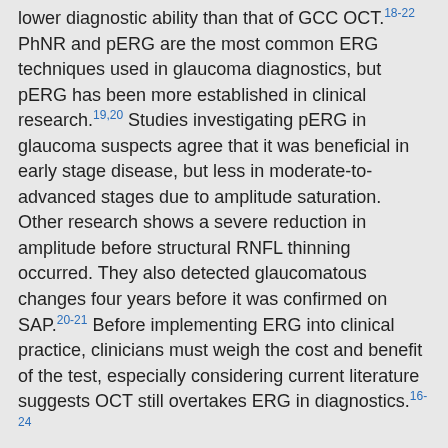lower diagnostic ability than that of GCC OCT.18-22 PhNR and pERG are the most common ERG techniques used in glaucoma diagnostics, but pERG has been more established in clinical research.19,20 Studies investigating pERG in glaucoma suspects agree that it was beneficial in early stage disease, but less in moderate-to-advanced stages due to amplitude saturation. Other research shows a severe reduction in amplitude before structural RNFL thinning occurred. They also detected glaucomatous changes four years before it was confirmed on SAP.20-21 Before implementing ERG into clinical practice, clinicians must weigh the cost and benefit of the test, especially considering current literature suggests OCT still overtakes ERG in diagnostics.16-24
View Footnotes
Overlooked Techniques
Gonioscopy, an oft-ignored yet vital skill, helps clinicians determine the type of glaucoma and individualize the treatment plan, particularly for the one-in-four patients with secondary glaucoma.43
In addition, measuring a patient's central corneal thickness (CCT) can help inform the treatment plan as well, considering the Ocular Hypertension Treatment Study revealed, independent of IOP, a strong correlation between